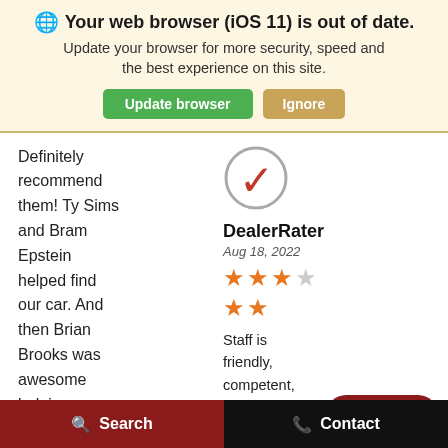🌐 Your web browser (iOS 11) is out of date. Update your browser for more security, speed and the best experience on this site.
Update browser | Ignore
Definitely recommend them! Ty Sims and Bram Epstein helped find our car. And then Brian Brooks was awesome helping us with financing. And the service team
[Figure (logo): DealerRater checkmark logo in a circle]
DealerRater
Aug 18, 2022
★★★☆☆ (3 stars row 1, 2 stars row 2)
Staff is friendly, competent, and helpful. Bei... vie... repairs while
Live Chat
Search
Contact